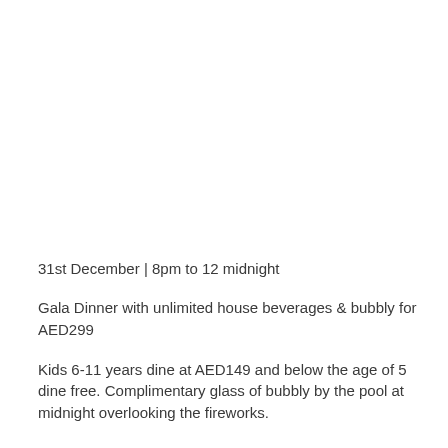31st December | 8pm to 12 midnight
Gala Dinner with unlimited house beverages & bubbly for AED299
Kids 6-11 years dine at AED149 and below the age of 5 dine free. Complimentary glass of bubbly by the pool at midnight overlooking the fireworks.